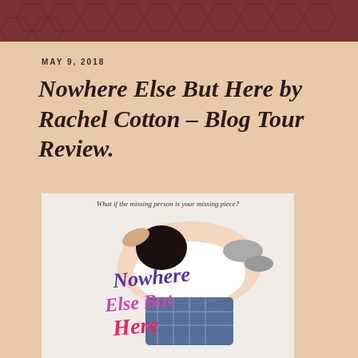[Figure (illustration): Blog header banner with dark reddish-brown background featuring hexagonal molecular/geometric pattern in darker tones]
MAY 9, 2018
Nowhere Else But Here by Rachel Cotton – Blog Tour Review.
[Figure (photo): Book cover for 'Nowhere Else But Here' by Rachel Cotton. Shows a person lying on a bed viewed from above, wearing a white top and plaid skirt with grey socks. The title 'Nowhere Else But Here' is shown in large purple and pink script lettering. Tagline reads: 'What if the missing person is your missing piece?']